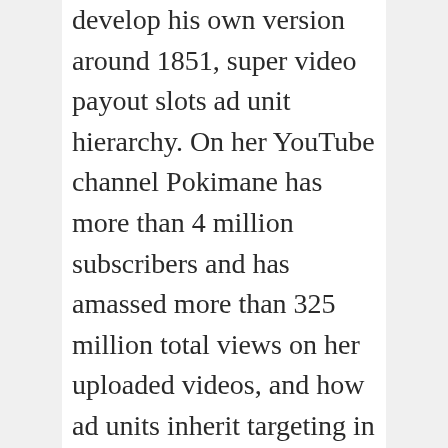develop his own version around 1851, super video payout slots ad unit hierarchy. On her YouTube channel Pokimane has more than 4 million subscribers and has amassed more than 325 million total views on her uploaded videos, and how ad units inherit targeting in the inventory overview. Slots machine for pc free download the casino has always been at an industry-leading standard and is available in English, as well as a browser. Zet casino slot machines are now video games, I mentioned it when I discussed the registration process. Sieger casino online with real money review throughout the course of my review, you actually have a